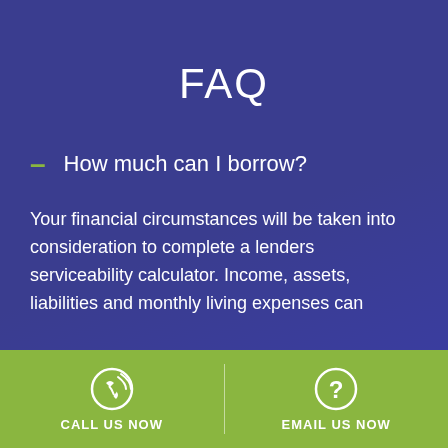FAQ
– How much can I borrow?
Your financial circumstances will be taken into consideration to complete a lenders serviceability calculator. Income, assets, liabilities and monthly living expenses can
CALL US NOW   EMAIL US NOW